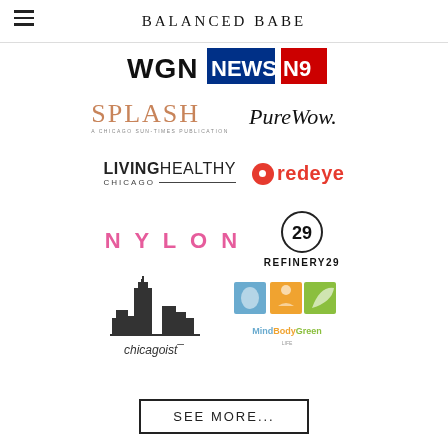BALANCED BABE
[Figure (logo): WGN News logo]
[Figure (logo): Splash - A Chicago Sun-Times Publication logo]
[Figure (logo): PureWow logo]
[Figure (logo): Living Healthy Chicago logo]
[Figure (logo): Redeye logo]
[Figure (logo): NYLON logo]
[Figure (logo): Refinery29 logo]
[Figure (logo): Chicagoist logo]
[Figure (logo): MindBodyGreen logo]
SEE MORE...